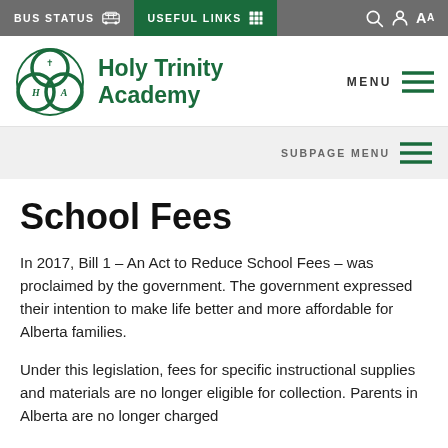BUS STATUS | USEFUL LINKS | Search | Account | Translate
[Figure (logo): Holy Trinity Academy logo — green trefoil/trinity knot with HTA letters, beside school name text]
School Fees
In 2017, Bill 1 – An Act to Reduce School Fees – was proclaimed by the government. The government expressed their intention to make life better and more affordable for Alberta families.
Under this legislation, fees for specific instructional supplies and materials are no longer eligible for collection. Parents in Alberta are no longer charged